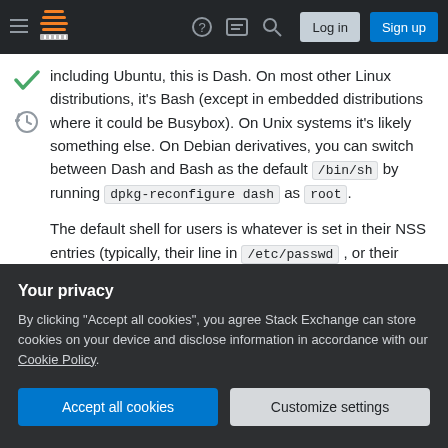Stack Exchange navigation bar with Log in and Sign up buttons
including Ubuntu, this is Dash. On most other Linux distributions, it's Bash (except in embedded distributions where it could be Busybox). On Unix systems it's likely something else. On Debian derivatives, you can switch between Dash and Bash as the default /bin/sh by running dpkg-reconfigure dash as root.
The default shell for users is whatever is set in their NSS entries (typically, their line in /etc/passwd , or their LDAP entry). Users can change this using chsh(1) and the default used when users are
Your privacy
By clicking "Accept all cookies", you agree Stack Exchange can store cookies on your device and disclose information in accordance with our Cookie Policy.
Accept all cookies
Customize settings